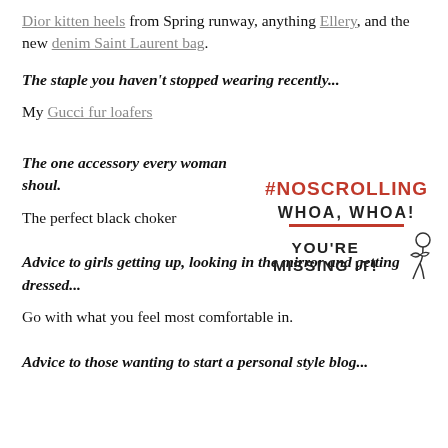Dior kitten heels from Spring runway, anything Ellery, and the new denim Saint Laurent bag.
The staple you haven't stopped wearing recently...
My Gucci fur loafers
[Figure (illustration): A '#NOSCROLLING' hashtag in red bold text, followed by 'WHOA, WHOA!' in bold uppercase black with a red underline, then 'YOU'RE MISSING IT!' in bold uppercase black, with a small cartoon figure of a person reading.]
The one accessory every woman shoul.
The perfect black choker
Advice to girls getting up, looking in the mirror and getting dressed...
Go with what you feel most comfortable in.
Advice to those wanting to start a personal style blog...